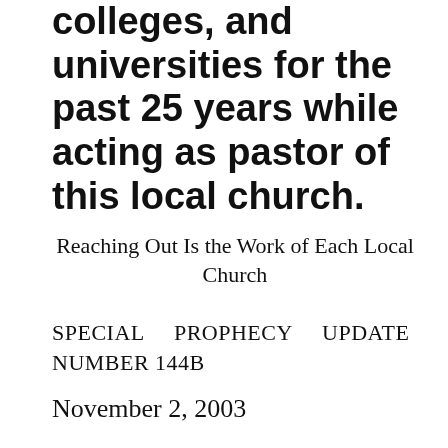colleges, and universities for the past 25 years while acting as pastor of this local church.
Reaching Out Is the Work of Each Local Church
SPECIAL    PROPHECY    UPDATE NUMBER 144B
November 2, 2003